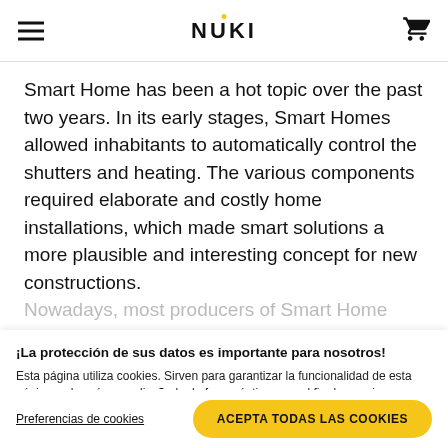NUKI
Smart Home has been a hot topic over the past two years. In its early stages, Smart Homes allowed inhabitants to automatically control the shutters and heating. The various components required elaborate and costly home installations, which made smart solutions a more plausible and interesting concept for new constructions. Nowadays, most producers of Smart Home…
¡La protección de sus datos es importante para nosotros!
Esta página utiliza cookies. Sirven para garantizar la funcionalidad de esta página web, así como diseñarla de forma óptima con el fin de seguir mejorándola. También utilizamos cookies opcionales que sirven de apoyo a nuestras actividades publicitarias. Encontrará información más detallada en nuestra política de protección de datos.
Preferencias de cookies
ACEPTA TODAS LAS COOKIES